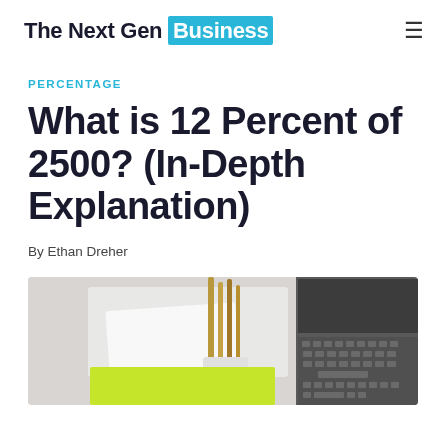The Next Gen Business
PERCENTAGE
What is 12 Percent of 2500? (In-Depth Explanation)
By Ethan Dreher
[Figure (photo): A desk scene showing a laptop keyboard, pencils in a holder, a white card/paper, and a lime green sticky note on a light gray surface.]